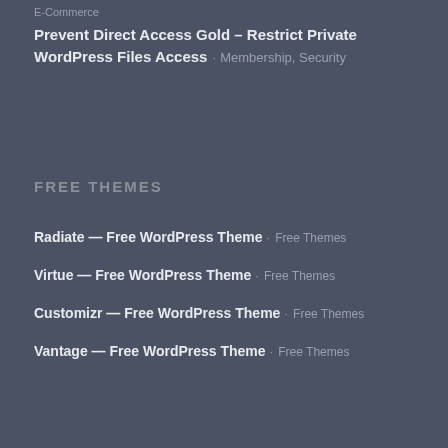E-Commerce
Prevent Direct Access Gold – Restrict Private WordPress Files Access · Membership, Security
FREE THEMES
Radiate — Free WordPress Theme · Free Themes
Virtue — Free WordPress Theme · Free Themes
Customizr — Free WordPress Theme · Free Themes
Vantage — Free WordPress Theme · Free Themes